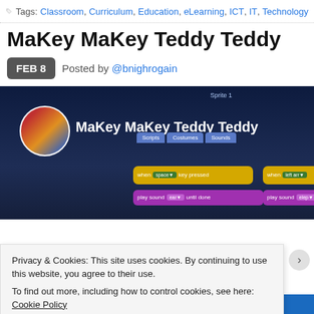Tags: Classroom, Curriculum, Education, eLearning, ICT, IT, Technology
MaKey MaKey Teddy Teddy
FEB 8  Posted by @bnighrogain
[Figure (screenshot): Screenshot of a blog post showing a video thumbnail titled 'MaKey MaKey Teddy Teddy' with a Scratch programming environment in the background showing yellow and purple code blocks.]
Privacy & Cookies: This site uses cookies. By continuing to use this website, you agree to their use. To find out more, including how to control cookies, see here: Cookie Policy
Close and accept
Get Pressable